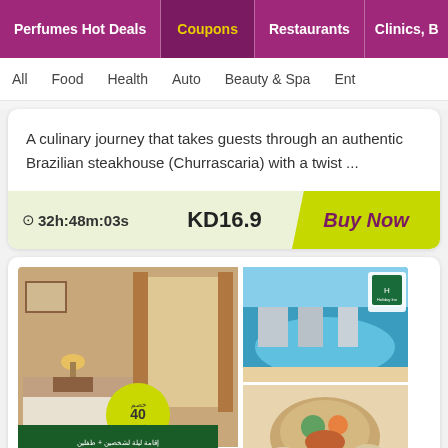Perfumes Hot Deals | Coupons | Restaurants | Clinics, B...
All | Food | Health | Auto | Beauty & Spa | Ente...
A culinary journey that takes guests through an authentic Brazilian steakhouse (Churrascaria) with a twist ...
⊙32h:48m:03s   KD16.9   Buy Now
[Figure (photo): Holiday Inn hotel promotional image showing hotel room, pool, and food with Arabic text and discount badge]
One Night Staying Pa...